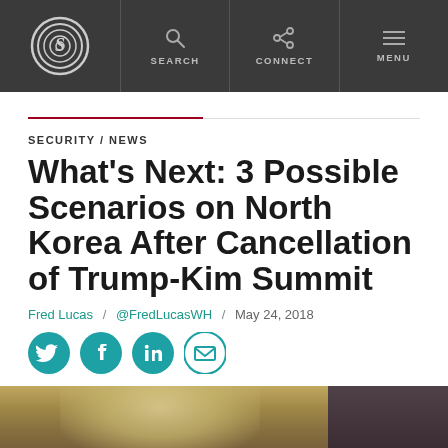The Daily Signal — Navigation bar with logo, Search, Connect, Menu
SECURITY / NEWS
What's Next: 3 Possible Scenarios on North Korea After Cancellation of Trump-Kim Summit
Fred Lucas / @FredLucasWH / May 24, 2018
[Figure (other): Social share icons: Twitter, Facebook, LinkedIn, Email]
[Figure (photo): Partially visible photograph at the bottom of the page]